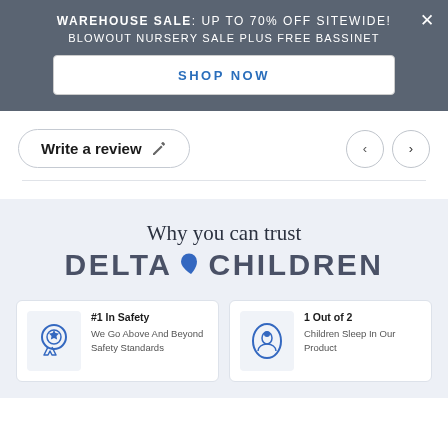WAREHOUSE SALE: UP TO 70% OFF SITEWIDE! BLOWOUT NURSERY SALE PLUS FREE BASSINET
SHOP NOW
Write a review
Why you can trust DELTA CHILDREN
#1 In Safety - We Go Above And Beyond Safety Standards
1 Out of 2 - Children Sleep In Our Product